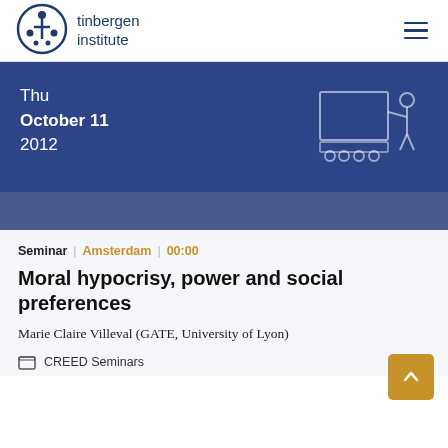tinbergen institute
[Figure (other): Tinbergen Institute logo: circular emblem with stylized figures in dark navy blue, next to text 'tinbergen institute']
Thu October 11 2012
[Figure (illustration): Line drawing illustration of a person presenting at a board/screen, with a cart or trolley below, rendered in light blue outline on dark blue background]
Seminar | Amsterdam | 00:00
Moral hypocrisy, power and social preferences
Marie Claire Villeval (GATE, University of Lyon)
CREED Seminars